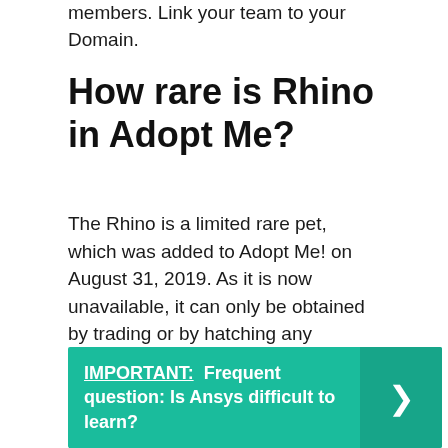members. Link your team to your Domain.
How rare is Rhino in Adopt Me?
The Rhino is a limited rare pet, which was added to Adopt Me! on August 31, 2019. As it is now unavailable, it can only be obtained by trading or by hatching any remaining Jungle Eggs. Players have a 37% chance of hatching a rare pet from the Jungle Egg, but only a 18.5% chance of hatching a Rhino.
IMPORTANT: Frequent question: Is Ansys difficult to learn?